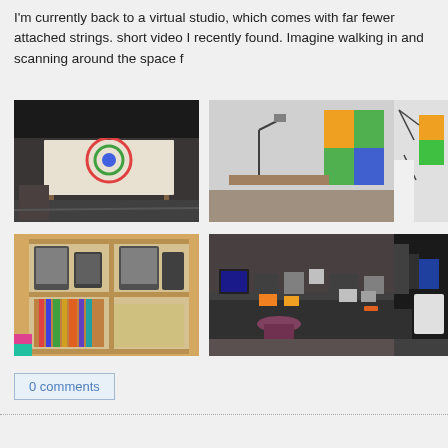I'm currently back to a virtual studio, which comes with far fewer attached strings. short video I recently found. Imagine walking in and scanning around the space f
[Figure (photo): Art studio with white drafting table holding a colorful circular artwork, wooden easel, cluttered floor with cords, dark room]
[Figure (photo): Art studio with lamp on stand, colorful painting leaning against wall, desk with supplies]
[Figure (photo): Studio with bungee cords or wire structures, white fabric backdrop, equipment]
[Figure (photo): Bookshelf unit with old CRT monitors on top, books and binders below, colorful rug corner]
[Figure (photo): Workbench with electronics components, circuit boards, small devices spread across dark table, red chair]
[Figure (photo): Dark room with equipment, white appliance, bags or cases]
0 comments